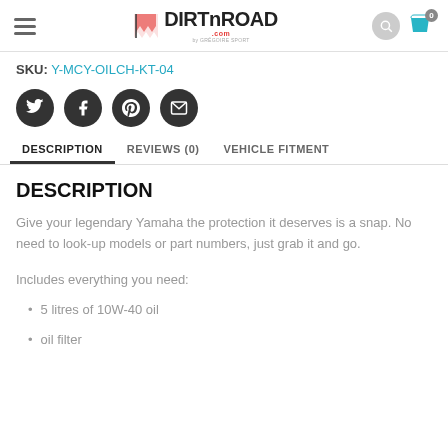DIRTnROAD.com header with navigation and cart
SKU: Y-MCY-OILCH-KT-04
[Figure (other): Social share buttons: Twitter, Facebook, Pinterest, Email]
DESCRIPTION   REVIEWS (0)   VEHICLE FITMENT
DESCRIPTION
Give your legendary Yamaha the protection it deserves is a snap. No need to look-up models or part numbers, just grab it and go.
Includes everything you need:
5 litres of 10W-40 oil
oil filter